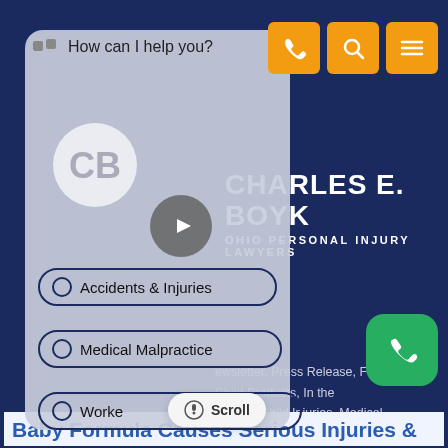[Figure (screenshot): Screenshot of Charles E. Boyk Ohio Personal Injury Lawyers website with chat overlay, navigation buttons, and top icon bar]
How can I help you?
Accidents & Injuries
Medical Malpractice
Workers Compensation
newsletter, Press Release, Foo... Child Products, In the News... Child Injuries, Medical Negligence, Birth ... Community
Baby Formula Causes Serious Injuries &